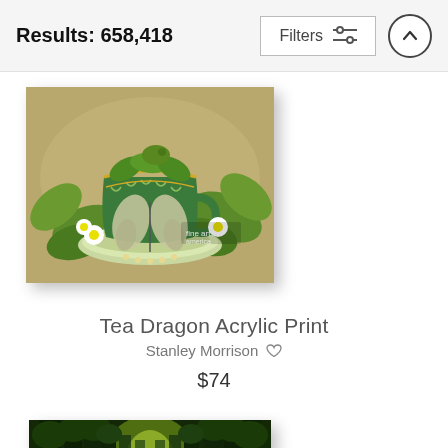Results: 658,418
Filters
[Figure (illustration): Tea Dragon Acrylic Print - canvas art showing a green teacup with a dragon and butterfly, surrounded by leaves and flowers]
Tea Dragon Acrylic Print
Stanley Morrison ♡
$74
[Figure (illustration): Partial view of a second canvas art product showing a glowing green forest with tall dark trees]